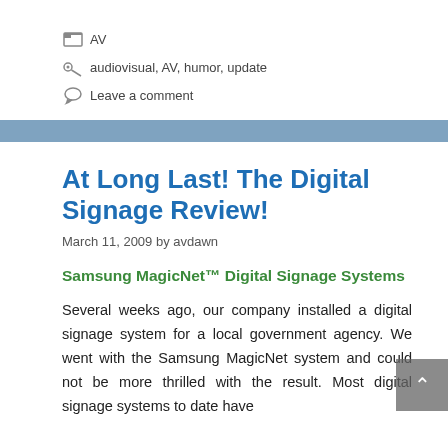AV
audiovisual, AV, humor, update
Leave a comment
At Long Last! The Digital Signage Review!
March 11, 2009 by avdawn
Samsung MagicNet™ Digital Signage Systems
Several weeks ago, our company installed a digital signage system for a local government agency. We went with the Samsung MagicNet system and could not be more thrilled with the result. Most digital signage systems to date have